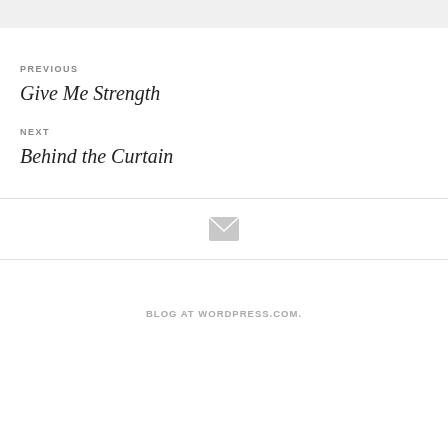PREVIOUS
Give Me Strength
NEXT
Behind the Curtain
[Figure (illustration): Envelope/mail icon, light gray]
BLOG AT WORDPRESS.COM.